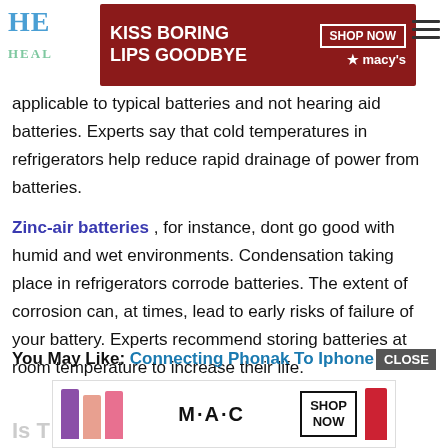[Figure (other): Advertisement banner: KISS BORING LIPS GOODBYE - Macy's lipstick ad with SHOP NOW button]
applicable to typical batteries and not hearing aid batteries. Experts say that cold temperatures in refrigerators help reduce rapid drainage of power from batteries.
Zinc-air batteries , for instance, dont go good with humid and wet environments. Condensation taking place in refrigerators corrode batteries. The extent of corrosion can, at times, lead to early risks of failure of your battery. Experts recommend storing batteries at room temperature to increase their life.
You May Like:  Connecting Phonak To Iphone
[Figure (other): Advertisement banner: MAC cosmetics lipstick ad with SHOP NOW button]